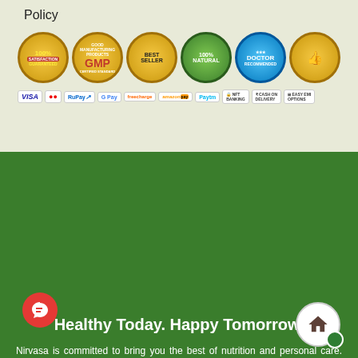Policy
[Figure (infographic): Row of six certification/trust badges: 100% Guaranteed, GMP, Best Seller, 100% Natural, Doctor, and thumbs-up badge. Below them a row of payment method logos: VISA, Mastercard, RuPay, G Pay, Freecharge, Amazon Pay, Paytm, NFT Banking, Cash on Delivery, Easy EMI Options.]
Healthy Today. Happy Tomorrow.
Nirvasa is committed to bring you the best of nutrition and personal care. This commitment is ingrained in our culture to the extent that all of us at Nirvasa – be it our veteran leaders or a newly entered intern stays on their toes to ensure that only highest quality health supplements & personal care products reach you. We work in absolute sync with one another to achieve a common goal – making our customers feel better across all dimensions of health. We believe you reach out to us when your regular diet falls short of the nutrition you need to look your best. This is why we put our heart and soul in handpicking not just products but weave solutions for smooth sustenance of a modern lifestyle.